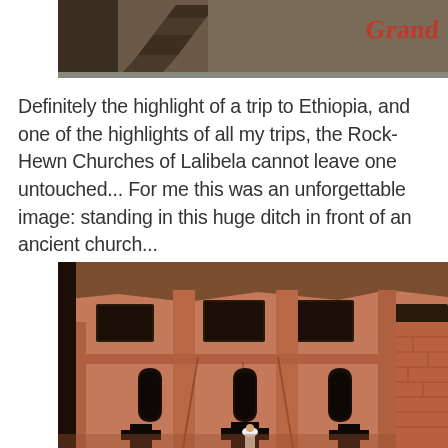[Figure (photo): Partial top photo showing stone steps and a rock surface, with the word 'Grand' visible in red/orange lettering at the top right corner.]
Definitely the highlight of a trip to Ethiopia, and one of the highlights of all my trips, the Rock-Hewn Churches of Lalibela cannot leave one untouched... For me this was an unforgettable image: standing in this huge ditch in front of an ancient church...
[Figure (photo): Photograph of the Rock-Hewn Churches of Lalibela in Ethiopia. The image shows the terracotta-red stone facade of an ancient church carved directly into the rock. Multiple arched windows and cross-shaped doorways are visible across two stories. A small white-helmeted figure stands at the base of the central doorway, illustrating the massive scale of the structure. The church is surrounded by dark rock walls on either side.]